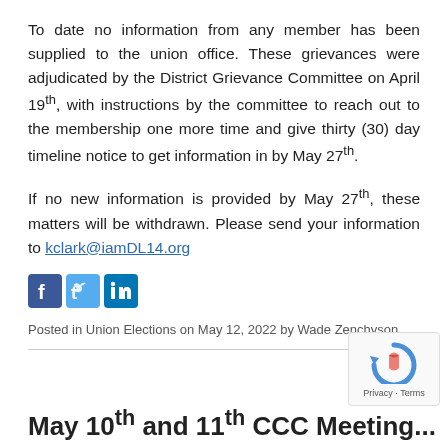To date no information from any member has been supplied to the union office. These grievances were adjudicated by the District Grievance Committee on April 19th, with instructions by the committee to reach out to the membership one more time and give thirty (30) day timeline notice to get information in by May 27th.
If no new information is provided by May 27th, these matters will be withdrawn. Please send your information to kclark@iamDL14.org
[Figure (other): Social media share icons: Facebook, Twitter, LinkedIn]
Posted in Union Elections on May 12, 2022 by Wade Zenchyson.
May 10th and 11th CCC Meeting...